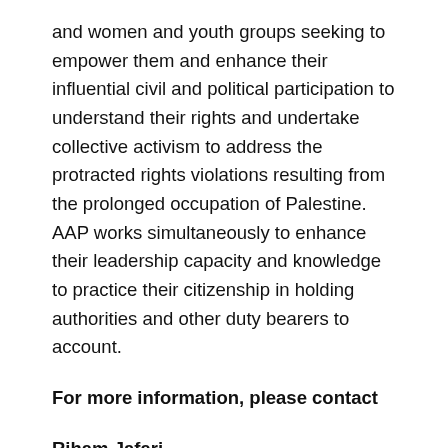and women and youth groups seeking to empower them and enhance their influential civil and political participation to understand their rights and undertake collective activism to address the protracted rights violations resulting from the prolonged occupation of Palestine. AAP works simultaneously to enhance their leadership capacity and knowledge to practice their citizenship in holding authorities and other duty bearers to account.
For more information, please contact
Riham Jafari
Coordinator of Advocacy and Communication in Palestine